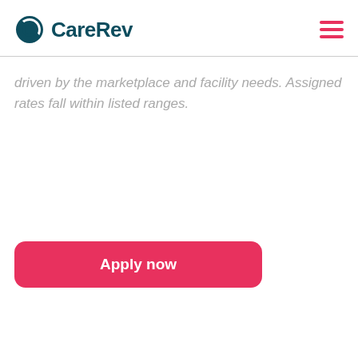CareRev
driven by the marketplace and facility needs. Assigned rates fall within listed ranges.
[Figure (other): Apply now button — a pink/red rounded rectangle button with white bold text reading 'Apply now']